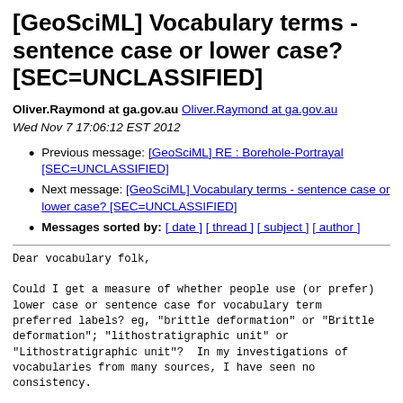[GeoSciML] Vocabulary terms - sentence case or lower case? [SEC=UNCLASSIFIED]
Oliver.Raymond at ga.gov.au Oliver.Raymond at ga.gov.au
Wed Nov 7 17:06:12 EST 2012
Previous message: [GeoSciML] RE : Borehole-Portrayal [SEC=UNCLASSIFIED]
Next message: [GeoSciML] Vocabulary terms - sentence case or lower case? [SEC=UNCLASSIFIED]
Messages sorted by: [ date ] [ thread ] [ subject ] [ author ]
Dear vocabulary folk,

Could I get a measure of whether people use (or prefer)
lower case or sentence case for vocabulary term
preferred labels? eg, "brittle deformation" or "Brittle
deformation"; "lithostratigraphic unit" or
"Lithostratigraphic unit"?  In my investigations of
vocabularies from many sources, I have seen no
consistency.